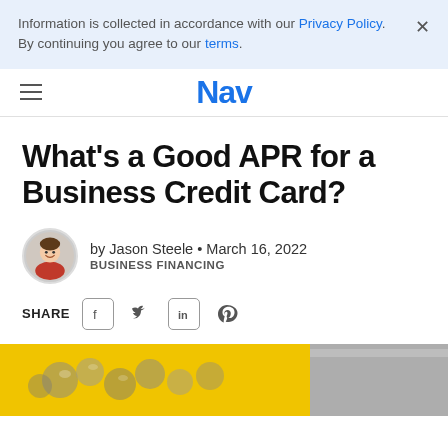Information is collected in accordance with our Privacy Policy. By continuing you agree to our terms.
Nav
What’s a Good APR for a Business Credit Card?
by Jason Steele • March 16, 2022
BUSINESS FINANCING
SHARE
[Figure (photo): Hero image showing metallic objects on a yellow background]